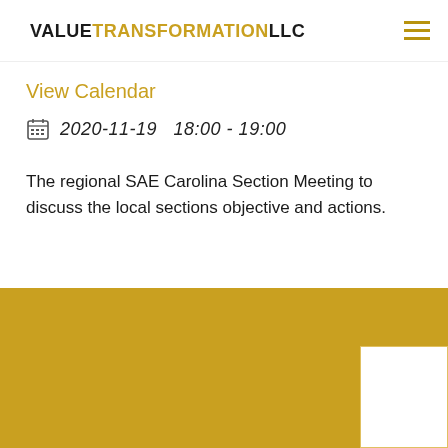VALUE TRANSFORMATION LLC
View Calendar
2020-11-19   18:00 - 19:00
The regional SAE Carolina Section Meeting to discuss the local sections objective and actions.
[Figure (other): Gold/yellow colored footer background section with a white box in the bottom right corner]